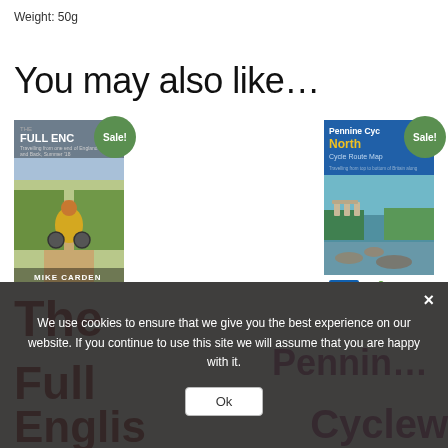Weight: 50g
You may also like…
[Figure (illustration): Book cover: The Full English by Mike Carden, with a Sale! badge]
[Figure (illustration): Book cover: Pennine Cycle North – Cycle Route Map, with a Sale! badge. Shows a river and viaduct scene.]
We use cookies to ensure that we give you the best experience on our website. If you continue to use this site we will assume that you are happy with it.